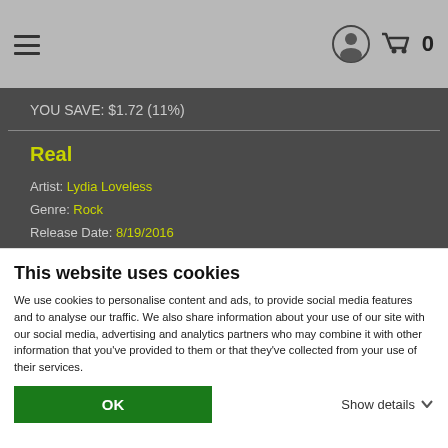navigation header with hamburger menu, user icon, cart icon, count 0
YOU SAVE: $1.72 (11%)
Real
Artist: Lydia Loveless
Genre: Rock
Release Date: 8/19/2016
ADD TO CART
This website uses cookies
We use cookies to personalise content and ads, to provide social media features and to analyse our traffic. We also share information about your use of our site with our social media, advertising and analytics partners who may combine it with other information that you've provided to them or that they've collected from your use of their services.
OK
Show details